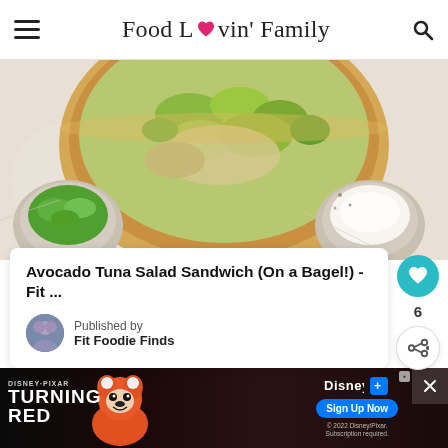Food Lovin' Family
[Figure (photo): Overhead view of a wooden bowl containing avocado tuna salad, with smaller bowls of fresh cilantro and sour cream/yogurt on a marble surface]
Avocado Tuna Salad Sandwich (On a Bagel!) - Fit ...
Published by
Fit Foodie Finds
[Figure (infographic): WHAT'S NEXT arrow label with thumbnail of Copycat McDonald's... recipe]
[Figure (screenshot): Disney Pixar Turning Red advertisement banner with Sign Up Now button for Disney+]